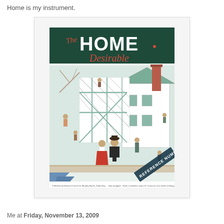Home is my instrument.
[Figure (illustration): Vintage magazine cover of 'The Home Desirable' showing a couple watching their house being built by construction workers, with a REFERENCE NUMBER banner in the lower right corner. The cover has a dark green header with white block letters and red script lettering.]
Me at Friday, November 13, 2009